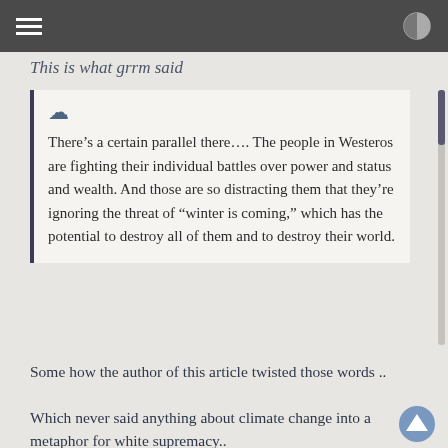This is what grrm said
There’s a certain parallel there…. The people in Westeros are fighting their individual battles over power and status and wealth. And those are so distracting them that they’re ignoring the threat of “winter is coming,” which has the potential to destroy all of them and to destroy their world.
Some how the author of this article twisted those words ..
Which never said anything about climate change into a metaphor for white supremacy..
It’s click bait..
Edited to add: